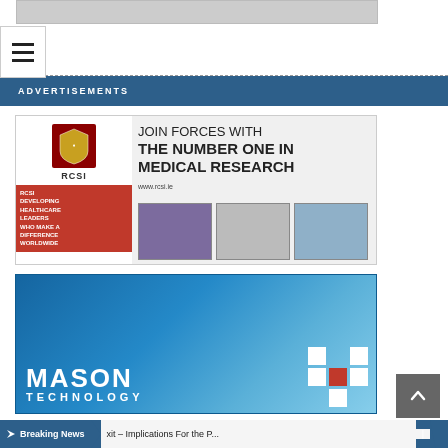[Figure (illustration): Gray banner at top of page]
[Figure (illustration): Hamburger menu icon with three horizontal bars]
ADVERTISEMENTS
[Figure (illustration): RCSI advertisement: JOIN FORCES WITH THE NUMBER ONE IN MEDICAL RESEARCH. www.rcsi.ie. Features RCSI crest/shield logo, red box with text RCSI DEVELOPING HEALTHCARE LEADERS WHO MAKE A DIFFERENCE WORLDWIDE, and three laboratory photos.]
[Figure (illustration): Mason Technology advertisement: Blue background with laboratory vials/dropper imagery, MASON TECHNOLOGY logo in white text with dot-grid logo mark including a red dot.]
Breaking News  xit – Implications For the P...  |